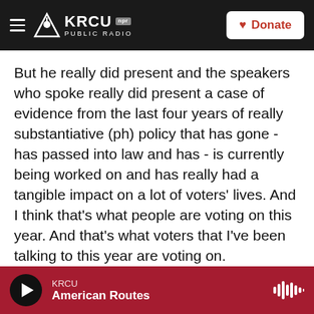KRCU NPR PUBLIC RADIO | Donate
But he really did present and the speakers who spoke really did present a case of evidence from the last four years of really substantiative (ph) policy that has gone - has passed into law and has - is currently being worked on and has really had a tangible impact on a lot of voters' lives. And I think that's what people are voting on this year. And that's what voters that I've been talking to this year are voting on.
MARTIN: That was Jessi Rapelje, who is national committee chairwoman of the Young Republican Federation of Virginia. We were also joined by
KRCU | American Routes